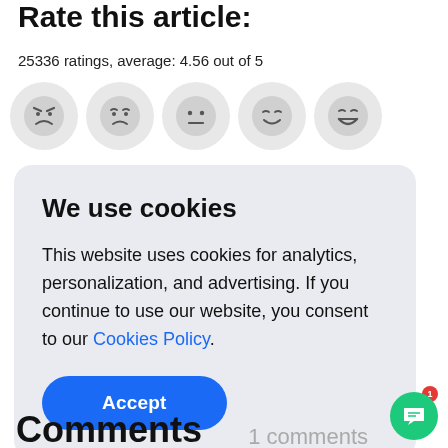Rate this article:
25336 ratings, average: 4.56 out of 5
[Figure (illustration): Row of five emoji faces ranging from angry to very happy]
We use cookies
This website uses cookies for analytics, personalization, and advertising. If you continue to use our website, you consent to our Cookies Policy.
Accept
Comments
1 comments